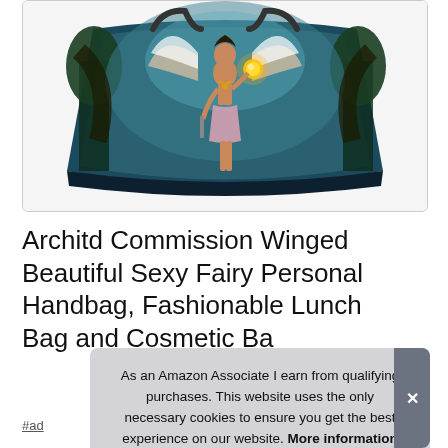[Figure (photo): Product image of a handbag featuring a winged fairy illustration on teal/dark background, shown from above at slight angle]
Architd Commission Winged Beautiful Sexy Fairy Personal Handbag, Fashionable Lunch Bag and Cosmetic Ba
#ad
As an Amazon Associate I earn from qualifying purchases. This website uses the only necessary cookies to ensure you get the best experience on our website. More information